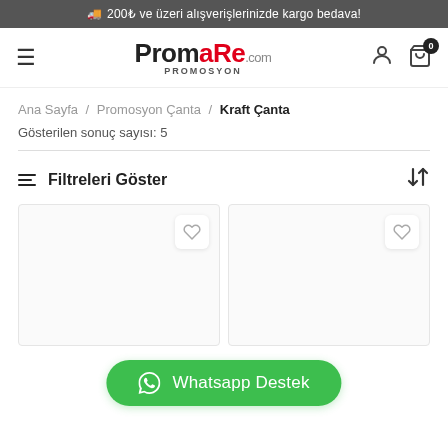🚚 200₺ ve üzeri alışverişlerinizde kargo bedava!
[Figure (logo): Promore.com Promosyon logo with hamburger menu, user icon, and cart icon with badge 0]
Ana Sayfa / Promosyon Çanta / Kraft Çanta
Gösterilen sonuç sayısı: 5
≡ Filtreleri Göster
[Figure (other): Two product card placeholders side by side with wishlist heart icons]
[Figure (other): Whatsapp Destek green button with WhatsApp icon]